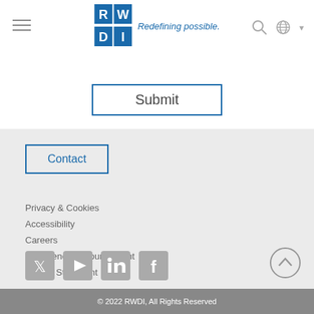[Figure (logo): RWDI logo with tagline 'Redefining possible.']
Submit
Contact
Privacy & Cookies
Accessibility
Careers
Emergency Announcement
Quality Statement
[Figure (illustration): Social media icons: Twitter, YouTube, LinkedIn, Facebook]
© 2022 RWDI, All Rights Reserved